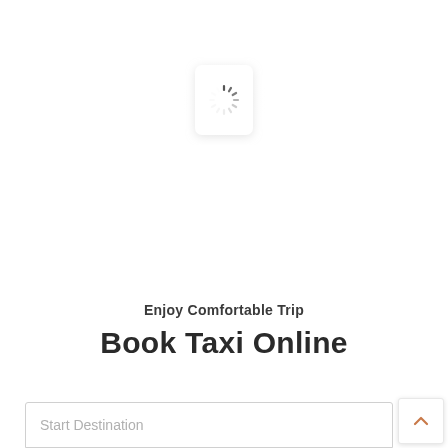[Figure (illustration): Loading spinner icon — a rounded square white card with a circular spinner animation indicator (radial dashes in dark gray) centered on it, with a soft drop shadow and slight radial glow]
Enjoy Comfortable Trip
Book Taxi Online
[Figure (screenshot): Text input field with placeholder text 'Start Destination' and a scroll-to-top button with an upward chevron on the right side]